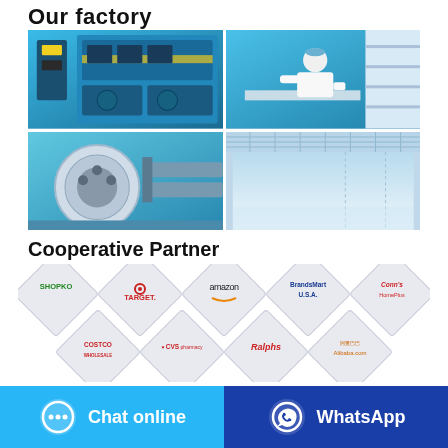Our factory
[Figure (photo): Four factory photos in a 2x2 grid showing: (1) manufacturing production line with blue/teal machinery and yellow safety tape, (2) laboratory worker in white coat at a bench, (3) large industrial roll/spool machinery, (4) clean room or warehouse interior]
Cooperative Partner
[Figure (infographic): Grid of diamond/rhombus shaped logos of cooperative partners: Shopko, Target, Amazon, BrandsMart USA, Conn's HomePlus (top row), Costco Wholesale, CVS Pharmacy, Ralphs, Alibaba.com (bottom row)]
Affordable japanese diaper bags That Are Spacious
Chat online
WhatsApp